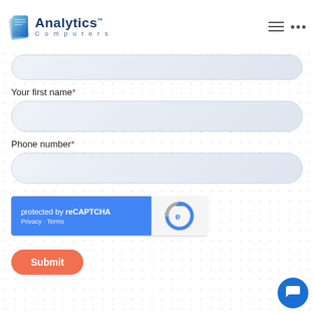[Figure (logo): Analytics Computers logo with blue layered icon and text]
Your first name*
Phone number*
[Figure (other): reCAPTCHA widget: protected by reCAPTCHA, Privacy - Terms, with reCAPTCHA icon on right]
Submit